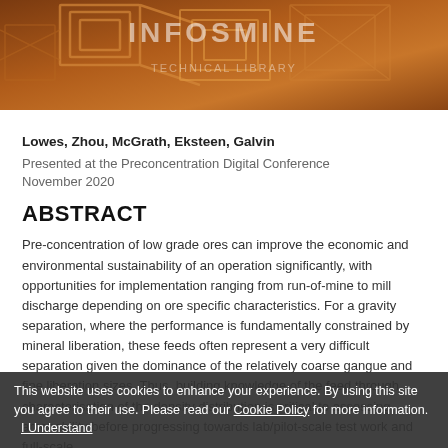[Figure (photo): Brown/copper architectural geometric abstract image used as header banner]
Lowes, Zhou, McGrath, Eksteen, Galvin
Presented at the Preconcentration Digital Conference November 2020
ABSTRACT
Pre-concentration of low grade ores can improve the economic and environmental sustainability of an operation significantly, with opportunities for implementation ranging from run-of-mine to mill discharge depending on ore specific characteristics. For a gravity separation, where the performance is fundamentally constrained by mineral liberation, these feeds often represent a very difficult separation given the dominance of the relatively coarse gangue and fine liberation sizes. Thus, building knowledge of the feed through characterisation of the density distribution is critical to assessing amenability before progressing towards lab/pilot-scale test work and full-scale
This website uses cookies to enhance your experience. By using this site you agree to their use. Please read our Cookie Policy for more information. I Understand